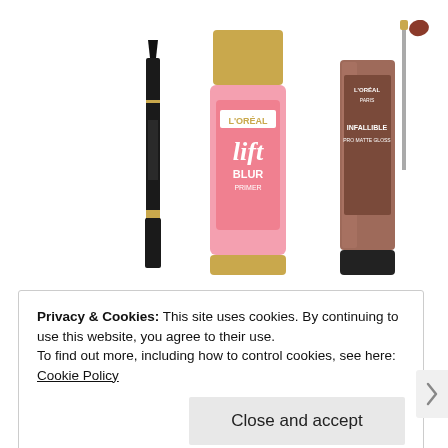[Figure (photo): Three L'Oreal cosmetic products on white background: a black eyeliner pen/marker on the left, a pink L'Oreal Studio Lift Blur primer tube in the center, and L'Oreal Infallible lip gloss with applicator wand on the right.]
Privacy & Cookies: This site uses cookies. By continuing to use this website, you agree to their use.
To find out more, including how to control cookies, see here: Cookie Policy
Close and accept